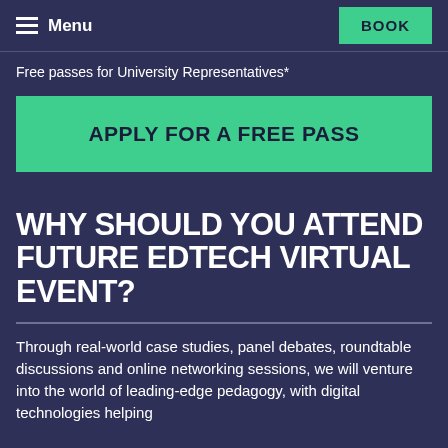Menu | BOOK
Free passes for University Representatives*
APPLY FOR A FREE PASS
WHY SHOULD YOU ATTEND FUTURE EDTECH VIRTUAL EVENT?
Through real-world case studies, panel debates, roundtable discussions and online networking sessions, we will venture into the world of leading-edge pedagogy, with digital technologies helping